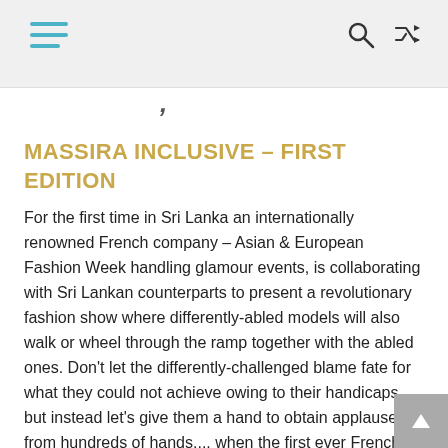[Navigation header with hamburger menu, search icon, and shuffle icon]
MASSIRA INCLUSIVE – FIRST EDITION
For the first time in Sri Lanka an internationally renowned French company – Asian & European Fashion Week handling glamour events, is collaborating with Sri Lankan counterparts to present a revolutionary fashion show where differently-abled models will also walk or wheel through the ramp together with the abled ones. Don't let the differently-challenged blame fate for what they could not achieve owing to their handicaps, but instead let's give them a hand to obtain applause from hundreds of hands.... when the first ever French-Sri Lankan fashion show in Colombo focusing on Inclusive Design unspools in Colombo in September this year